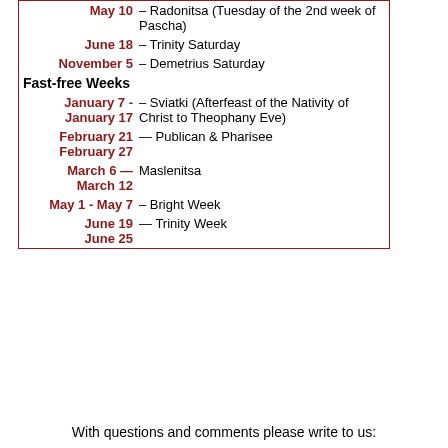| Date | Description |
| --- | --- |
| May 10 | – Radonitsa (Tuesday of the 2nd week of Pascha) |
| June 18 | – Trinity Saturday |
| November 5 | – Demetrius Saturday |
| Fast-free Weeks |  |
| January 7 - January 17 | – Sviatki (Afterfeast of the Nativity of Christ to Theophany Eve) |
| February 21 - February 27 | — Publican & Pharisee |
| March 6 - March 12 | — Maslenitsa |
| May 1 - May 7 | – Bright Week |
| June 19 - June 25 | — Trinity Week |
With questions and comments please write to us: